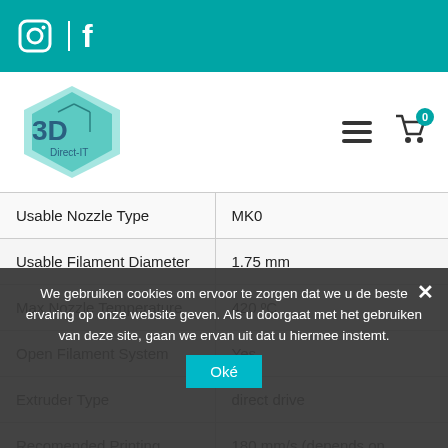Instagram | Facebook social icons header bar
[Figure (logo): 3D Direct-IT hexagonal teal/green logo]
| Usable Nozzle Type | MK0 |
| Usable Filament Diameter | 1.75 mm |
| Max Nozzle Temperature | 420 ºC |
| Open Filament System | Yes |
| Extruder Type | direct drive |
| Recomended Printing Speed Max | 180 mm/s (depends on material)) |
We gebruiken cookies om ervoor te zorgen dat we u de beste ervaring op onze website geven. Als u doorgaat met het gebruiken van deze site, gaan we ervan uit dat u hiermee instemt.
Oké